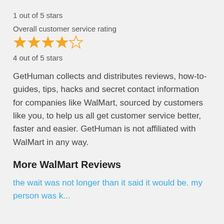1 out of 5 stars
Overall customer service rating
[Figure (other): 4 filled golden stars and 1 empty star rating graphic]
4 out of 5 stars
GetHuman collects and distributes reviews, how-to-guides, tips, hacks and secret contact information for companies like WalMart, sourced by customers like you, to help us all get customer service better, faster and easier. GetHuman is not affiliated with WalMart in any way.
More WalMart Reviews
the wait was not longer than it said it would be. my person was k...